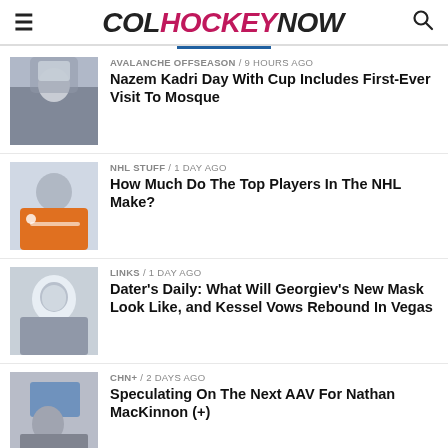COL HOCKEY NOW
AVALANCHE OFFSEASON / 9 hours ago — Nazem Kadri Day With Cup Includes First-Ever Visit To Mosque
NHL STUFF / 1 day ago — How Much Do The Top Players In The NHL Make?
LINKS / 1 day ago — Dater's Daily: What Will Georgiev's New Mask Look Like, and Kessel Vows Rebound In Vegas
CHN+ / 2 days ago — Speculating On The Next AAV For Nathan MacKinnon (+)